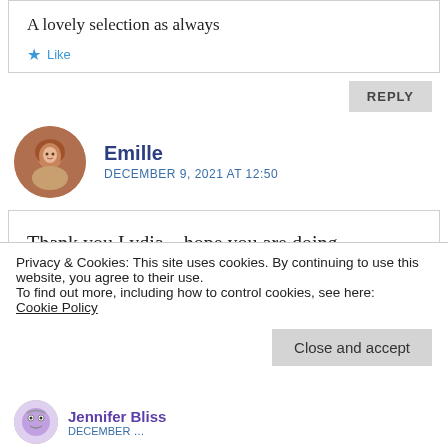A lovely selection as always
★ Like
REPLY
Emille
DECEMBER 9, 2021 AT 12:50
Thank you Lydia – hope you are doing
Privacy & Cookies: This site uses cookies. By continuing to use this website, you agree to their use.
To find out more, including how to control cookies, see here: Cookie Policy
Close and accept
Jennifer Bliss
DECEMBER …